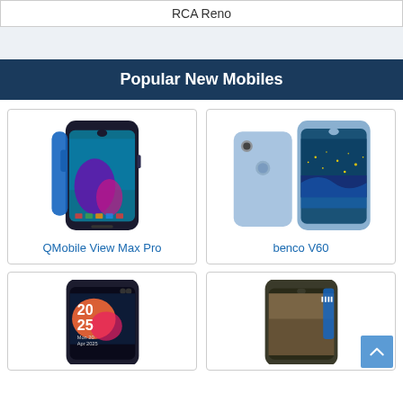RCA Reno
Popular New Mobiles
[Figure (photo): QMobile View Max Pro smartphone photo]
QMobile View Max Pro
[Figure (photo): benco V60 smartphone photo]
benco V60
[Figure (photo): Smartphone photo (bottom left card, partially visible)]
[Figure (photo): Smartphone photo (bottom right card, partially visible)]